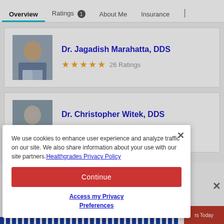Overview | Ratings 1 | About Me | Insurance
Dr. Jagadish Marahatta, DDS — 26 Ratings
Dr. Christopher Witek, DDS — 2 Ratings
We use cookies to enhance user experience and analyze traffic on our site. We also share information about your use with our site partners. Healthgrades Privacy Policy
Continue
Access my Privacy Preferences